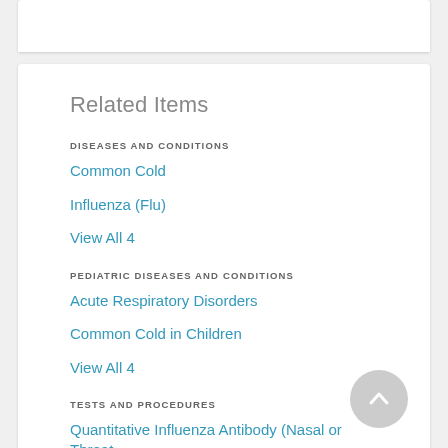Related Items
DISEASES AND CONDITIONS
Common Cold
Influenza (Flu)
View All 4
PEDIATRIC DISEASES AND CONDITIONS
Acute Respiratory Disorders
Common Cold in Children
View All 4
TESTS AND PROCEDURES
Quantitative Influenza Antibody (Nasal or Throat